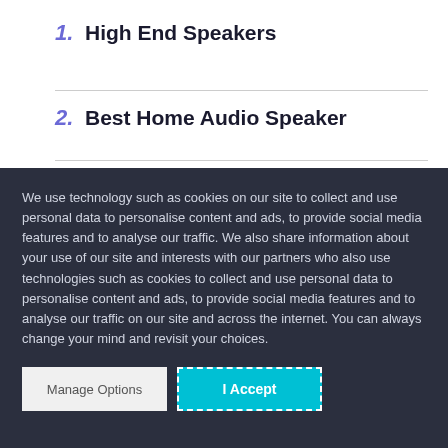1. High End Speakers
2. Best Home Audio Speaker
We use technology such as cookies on our site to collect and use personal data to personalise content and ads, to provide social media features and to analyse our traffic. We also share information about your use of our site and interests with our partners who also use technologies such as cookies to collect and use personal data to personalise content and ads, to provide social media features and to analyse our traffic on our site and across the internet. You can always change your mind and revisit your choices.
Manage Options | I Accept